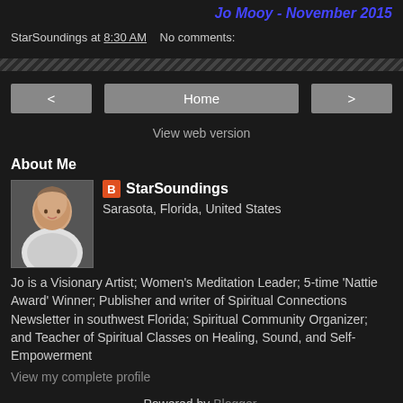Jo Mooy - November 2015
StarSoundings at 8:30 AM   No comments:
Home
View web version
About Me
StarSoundings
Sarasota, Florida, United States
Jo is a Visionary Artist; Women's Meditation Leader; 5-time 'Nattie Award' Winner; Publisher and writer of Spiritual Connections Newsletter in southwest Florida; Spiritual Community Organizer; and Teacher of Spiritual Classes on Healing, Sound, and Self-Empowerment
View my complete profile
Powered by Blogger.